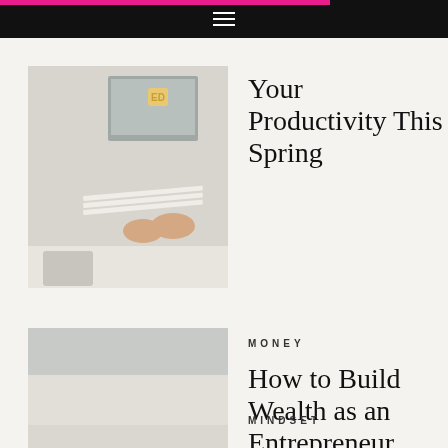Navigation menu bar
[Figure (photo): Person typing on a computer at a desk with papers, viewed from above]
Your Productivity This Spring
[Figure (photo): Close-up of hands holding a black wallet with cash/dollar bills, red manicured nails]
MONEY
How to Build Wealth as an Entrepreneur
[Figure (photo): Partially visible photo - light beige/cream surface]
MINDSET